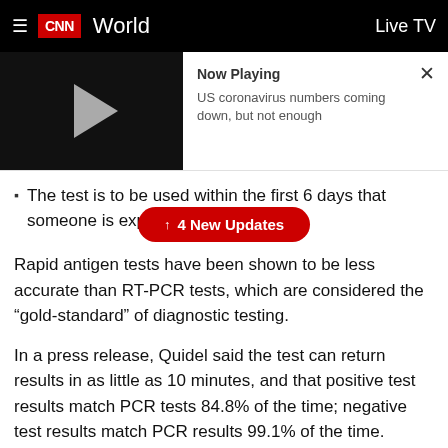CNN World | Live TV
[Figure (screenshot): Video player thumbnail with play button - Now Playing: US coronavirus numbers coming down, but not enough]
The test is to be used within the first 6 days that someone is experiencing symptoms of Covid-19.
4 New Updates
Rapid antigen tests have been shown to be less accurate than RT-PCR tests, which are considered the “gold-standard” of diagnostic testing.
In a press release, Quidel said the test can return results in as little as 10 minutes, and that positive test results match PCR tests 84.8% of the time; negative test results match PCR results 99.1% of the time.
The sample swabs are placed in a test tube along with